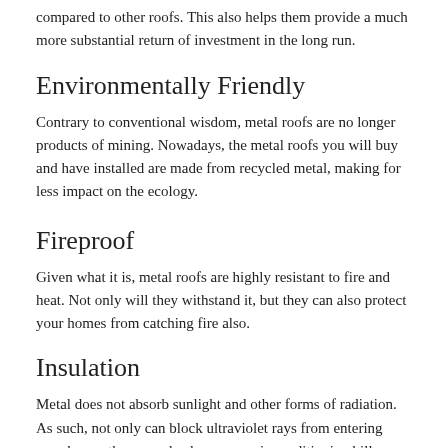compared to other roofs. This also helps them provide a much more substantial return of investment in the long run.
Environmentally Friendly
Contrary to conventional wisdom, metal roofs are no longer products of mining. Nowadays, the metal roofs you will buy and have installed are made from recycled metal, making for less impact on the ecology.
Fireproof
Given what it is, metal roofs are highly resistant to fire and heat. Not only will they withstand it, but they can also protect your homes from catching fire also.
Insulation
Metal does not absorb sunlight and other forms of radiation. As such, not only can block ultraviolet rays from entering your home, they can also keep your air conditioning bills down by up to 25%.